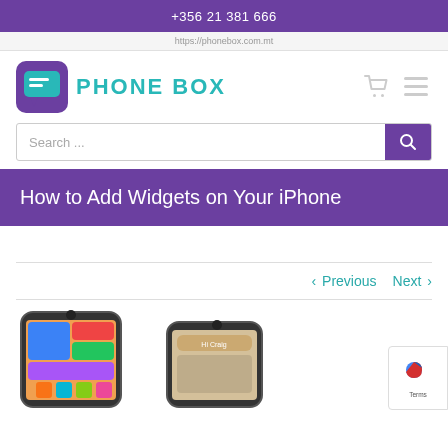+356 21 381 666
[Figure (logo): Phone Box logo with purple speech bubble icon and teal text reading PHONE BOX]
[Figure (screenshot): Search bar with Search... placeholder and purple search button]
How to Add Widgets on Your iPhone
‹ Previous   Next ›
[Figure (photo): Two iPhone screenshots showing widgets on home screen]